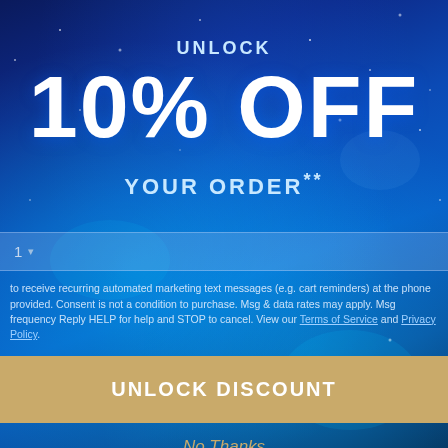UNLOCK
10% OFF
YOUR ORDER**
1
to receive recurring automated marketing text messages (e.g. cart reminders) at the phone provided. Consent is not a condition to purchase. Msg & data rates may apply. Msg frequency Reply HELP for help and STOP to cancel. View our Terms of Service and Privacy Policy.
UNLOCK DISCOUNT
No Thanks